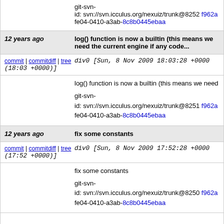git-svn-id: svn://svn.icculus.org/nexuiz/trunk@8252 f962afe04-0410-a3ab-8c8b0445ebaa
12 years ago   log() function is now a builtin (this means we need the current engine if any code...
commit | commitdiff | tree   div0 [Sun, 8 Nov 2009 18:03:28 +0000 (18:03 +0000)]
log() function is now a builtin (this means we need
git-svn-id: svn://svn.icculus.org/nexuiz/trunk@8251 f962afe04-0410-a3ab-8c8b0445ebaa
12 years ago   fix some constants
commit | commitdiff | tree   div0 [Sun, 8 Nov 2009 17:52:28 +0000 (17:52 +0000)]
fix some constants
git-svn-id: svn://svn.icculus.org/nexuiz/trunk@8250 f962afe04-0410-a3ab-8c8b0445ebaa